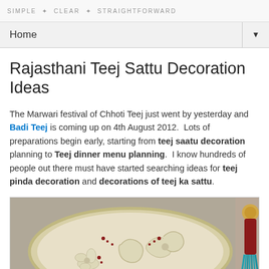SIMPLE · CLEAR · STRAIGHTFORWARD
Home
Rajasthani Teej Sattu Decoration Ideas
The Marwari festival of Chhoti Teej just went by yesterday and Badi Teej is coming up on 4th August 2012. Lots of preparations begin early, starting from teej saatu decoration planning to Teej dinner menu planning. I know hundreds of people out there must have started searching ideas for teej pinda decoration and decorations of teej ka sattu.
[Figure (photo): A decorated plate/thali with a cream-colored surface featuring floral and leaf designs in relief, with small red dot decorations. A decorative tassel or ornament is visible on the right side.]